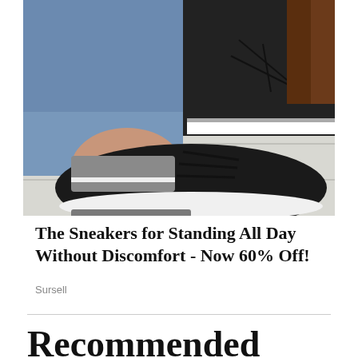[Figure (photo): Close-up photo of a woman's feet wearing black lace-up sneakers with grey/silver mesh panels and white chunky soles, wearing blue jeans, on a white wooden floor]
The Sneakers for Standing All Day Without Discomfort - Now 60% Off!
Sursell
Recommended